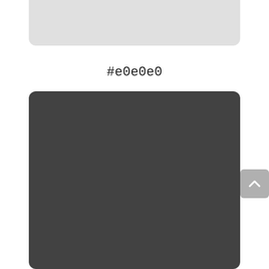[Figure (other): Light gray rounded rectangle color swatch (#e0e0e0)]
#e0e0e0
[Figure (other): Dark gray rounded rectangle color swatch (#424242)]